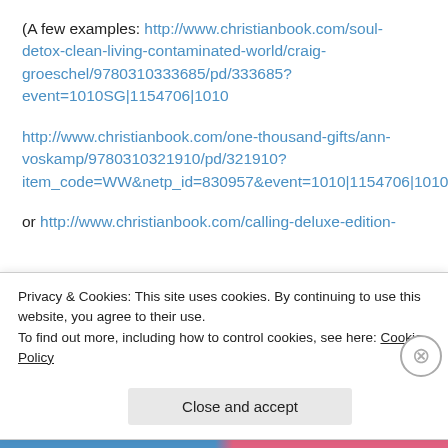(A few examples: http://www.christianbook.com/soul-detox-clean-living-contaminated-world/craig-groeschel/9780310333685/pd/333685?event=1010SG|1154706|1010
http://www.christianbook.com/one-thousand-gifts/ann-voskamp/9780310321910/pd/321910?item_code=WW&netp_id=830957&event=1010|1154706|1010|1154706|1010&view=details
or http://www.christianbook.com/calling-deluxe-edition-
Privacy & Cookies: This site uses cookies. By continuing to use this website, you agree to their use.
To find out more, including how to control cookies, see here: Cookie Policy
Close and accept